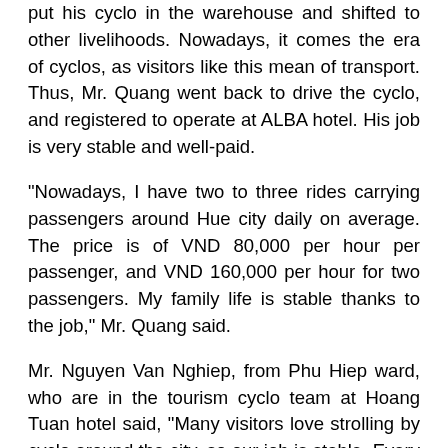put his cyclo in the warehouse and shifted to other livelihoods. Nowadays, it comes the era of cyclos, as visitors like this mean of transport. Thus, Mr. Quang went back to drive the cyclo, and registered to operate at ALBA hotel. His job is very stable and well-paid.
"Nowadays, I have two to three rides carrying passengers around Hue city daily on average. The price is of VND 80,000 per hour per passenger, and VND 160,000 per hour for two passengers. My family life is stable thanks to the job," Mr. Quang said.
Mr. Nguyen Van Nghiep, from Phu Hiep ward, who are in the tourism cyclo team at Hoang Tuan hotel said, "Many visitors love strolling by cyclo around the city, so our job is stable. Every day, cyclo drivers in the team earn some hundreds of thousand VND. This is quite high and stable income. We hope that Hue will increasingly attract more and more visitors."
According to many travel experts, the use of Hue cyclo to